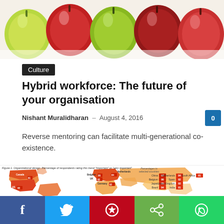[Figure (photo): Row of red, green and dark red apples seen from above against white background, cropped at bottom]
Culture
Hybrid workforce: The future of your organisation
Nishant Muralidharan – August 4, 2016
Reverse mentoring can facilitate multi-generational co-existence.
[Figure (map): Figure 1. Organizational design: Percentage of respondents rating this trend "important" or "very important". World map showing percentages by country in red/orange shades. Countries labeled: Canada, Belgium, UK, Germany, Netherlands, US. Legend shows percentages for China, Belgium, Japan, Brazil, Netherlands, Spain, United Kingdom, India, South Africa.]